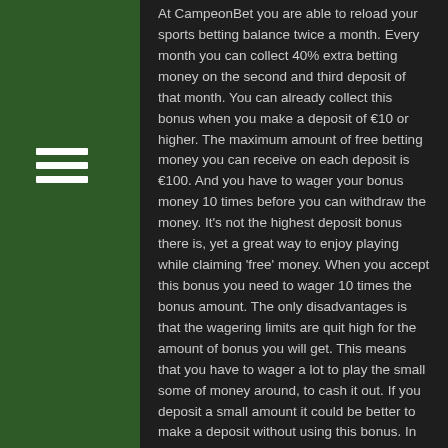At CampeonBet you are able to reload your sports betting balance twice a month. Every month you can collect 40% extra betting money on the second and third deposit of that month. You can already collect this bonus when you make a deposit of €10 or higher. The maximum amount of free betting money you can receive on each deposit is €100. And you have to wager your bonus money 10 times before you can withdraw the money. It's not the highest deposit bonus there is, yet a great way to enjoy playing while claiming 'free' money. When you accept this bonus you need to wager 10 times the bonus amount. The only disadvantages is that the wagering limits are quit high for the amount of bonus you will get. This means that you have to wager a lot to play the small some of money around, to cash it out. If you deposit a small amount it could be better to make a deposit without using this bonus. In that case you have no bonus terms or conditions. And you are able